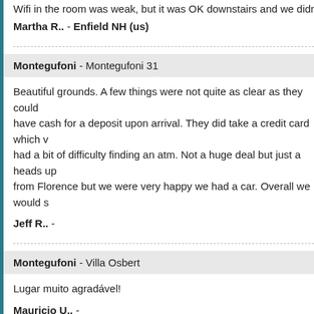Wifi in the room was weak, but it was OK downstairs and we didn't rea...
Martha R.. - Enfield NH (us)
Montegufoni - Montegufoni 31
Beautiful grounds. A few things were not quite as clear as they could have cash for a deposit upon arrival. They did take a credit card which had a bit of difficulty finding an atm. Not a huge deal but just a heads up from Florence but we were very happy we had a car. Overall we would s...
Jeff R.. -
Montegufoni - Villa Osbert
Lugar muito agradável!
Mauricio U.. -